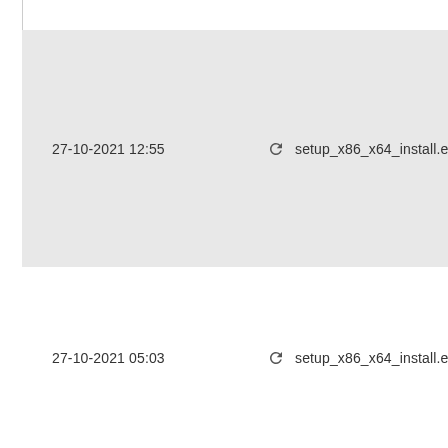27-10-2021 12:55    ↻  setup_x86_x64_install.exe
27-10-2021 05:03    ↻  setup_x86_x64_install.exe